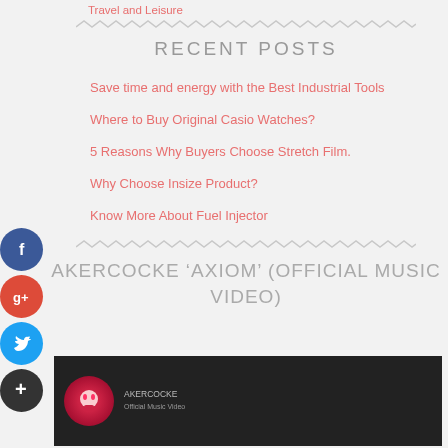Travel and Leisure
[Figure (other): Zigzag decorative divider line]
RECENT POSTS
Save time and energy with the Best Industrial Tools
Where to Buy Original Casio Watches?
5 Reasons Why Buyers Choose Stretch Film.
Why Choose Insize Product?
Know More About Fuel Injector
[Figure (other): Zigzag decorative divider line]
AKERCOCKE ‘AXIOM’ (OFFICIAL MUSIC VIDEO)
[Figure (screenshot): Video thumbnail for Akercocke Axiom music video showing dark background with skull imagery and red tones]